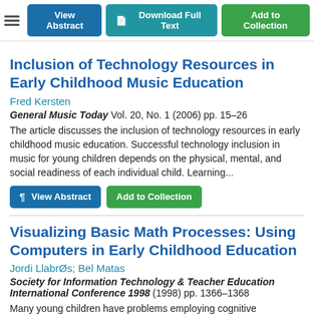View Abstract | Download Full Text | Add to Collection
Inclusion of Technology Resources in Early Childhood Music Education
Fred Kersten
General Music Today Vol. 20, No. 1 (2006) pp. 15–26
The article discusses the inclusion of technology resources in early childhood music education. Successful technology inclusion in music for young children depends on the physical, mental, and social readiness of each individual child. Learning...
Visualizing Basic Math Processes: Using Computers in Early Childhood Education
Jordi LlabrØs; Bel Matas
Society for Information Technology & Teacher Education International Conference 1998 (1998) pp. 1366–1368
Many young children have problems employing cognitive strategies...